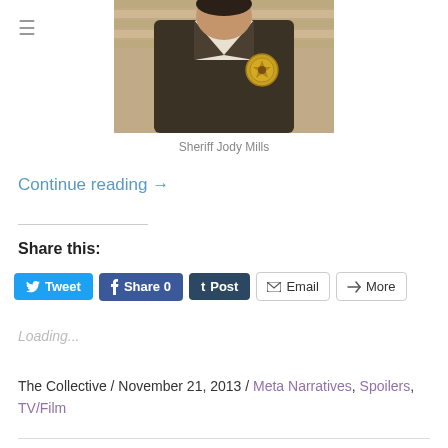[Figure (photo): Photo of a person wearing a sheriff's uniform with a gold star badge, partially cropped]
Sheriff Jody Mills
Continue reading →
Share this:
Tweet  Share 0  Post  Email  More
Loading...
The Collective / November 21, 2013 / Meta Narratives, Spoilers, TV/Film